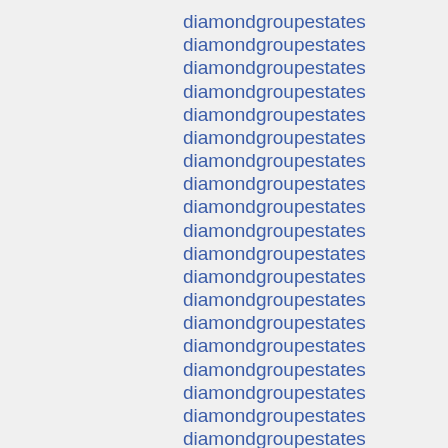diamondgroupestates
diamondgroupestates
diamondgroupestates
diamondgroupestates
diamondgroupestates
diamondgroupestates
diamondgroupestates
diamondgroupestates
diamondgroupestates
diamondgroupestates
diamondgroupestates
diamondgroupestates
diamondgroupestates
diamondgroupestates
diamondgroupestates
diamondgroupestates
diamondgroupestates
diamondgroupestates
diamondgroupestates
diamondgroupestates
diamondgroupestates
diamondgroupestates
diamondgroupestates